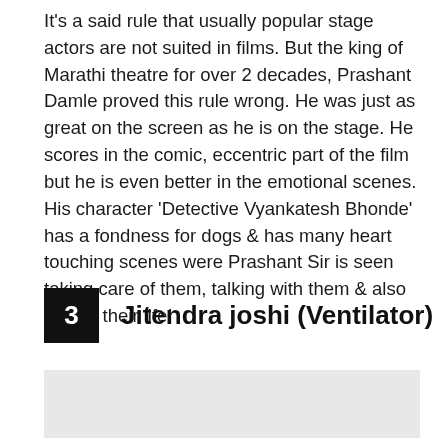It's a said rule that usually popular stage actors are not suited in films. But the king of Marathi theatre for over 2 decades, Prashant Damle proved this rule wrong. He was just as great on the screen as he is on the stage. He scores in the comic, eccentric part of the film but he is even better in the emotional scenes. His character 'Detective Vyankatesh Bhonde' has a fondness for dogs & has many heart touching scenes were Prashant Sir is seen taking care of them, talking with them & also saving their life!
3  Jitendra joshi (Ventilator)